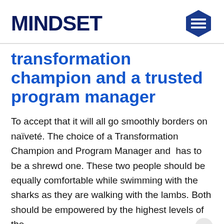MINDSET
transformation champion and a trusted program manager
To accept that it will all go smoothly borders on naïveté. The choice of a Transformation Champion and Program Manager and  has to be a shrewd one. These two people should be equally comfortable while swimming with the sharks as they are walking with the lambs. Both should be empowered by the highest levels of the